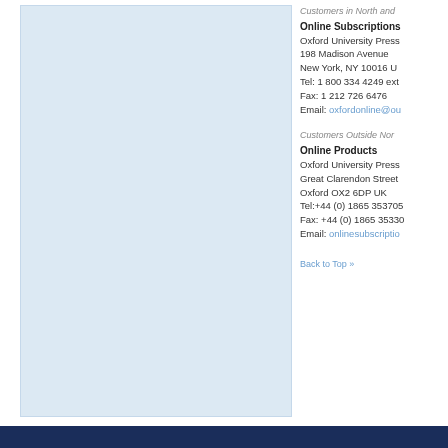[Figure (other): Light blue rectangular panel on the left side of the page]
Customers in North and
Online Subscriptions
Oxford University Press
198 Madison Avenue
New York, NY 10016 U
Tel: 1 800 334 4249 ext
Fax: 1 212 726 6476
Email: oxfordonline@ou
Customers Outside Nor
Online Products
Oxford University Press
Great Clarendon Street
Oxford OX2 6DP UK
Tel:+44 (0) 1865 353705
Fax: +44 (0) 1865 35330
Email: onlinesubscriptio
Back to Top »